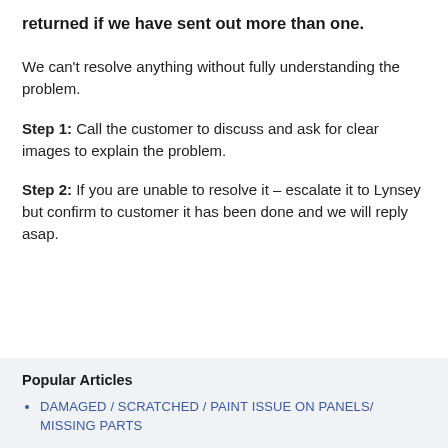returned if we have sent out more than one.
We can’t resolve anything without fully understanding the problem.
Step 1:   Call the customer to discuss and ask for clear images to explain the problem.
Step 2:  If you are unable to resolve it – escalate it to Lynsey but confirm to customer it has been done and we will reply asap.
Popular Articles
DAMAGED / SCRATCHED / PAINT ISSUE ON PANELS/ MISSING PARTS